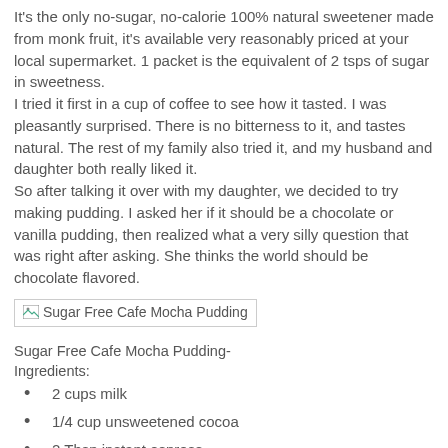It's the only no-sugar, no-calorie 100% natural sweetener made from monk fruit, it's available very reasonably priced at your local supermarket. 1 packet is the equivalent of 2 tsps of sugar in sweetness.
I tried it first in a cup of coffee to see how it tasted. I was pleasantly surprised. There is no bitterness to it, and tastes natural. The rest of my family also tried it, and my husband and daughter both really liked it.
So after talking it over with my daughter, we decided to try making pudding. I asked her if it should be a chocolate or vanilla pudding, then realized what a very silly question that was right after asking. She thinks the world should be chocolate flavored.
[Figure (photo): Image placeholder showing 'Sugar Free Cafe Mocha Pudding' with broken image icon]
Sugar Free Cafe Mocha Pudding-
Ingredients:
2 cups milk
1/4 cup unsweetened cocoa
2 Tbsp instant espress